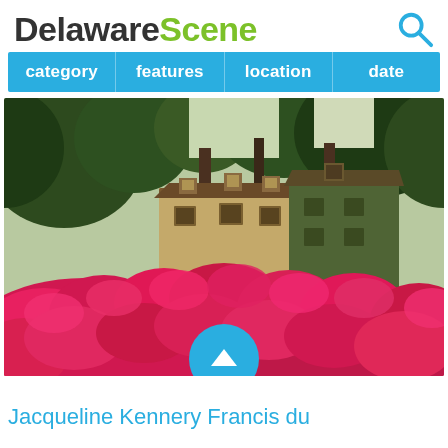DelawareScene
| category | features | location | date |
| --- | --- | --- | --- |
[Figure (photo): A historic mansion or estate building partially obscured by a large hillside covered in blooming pink/magenta azalea flowers, with tall green trees in background.]
Jacqueline Kenne[dy Onassis / ma]ry Francis du [Pont]